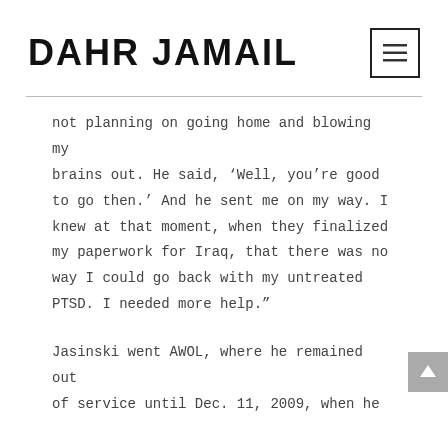DAHR JAMAIL
not planning on going home and blowing my brains out. He said, ‘Well, you’re good to go then.’ And he sent me on my way. I knew at that moment, when they finalized my paperwork for Iraq, that there was no way I could go back with my untreated PTSD. I needed more help.”
Jasinski went AWOL, where he remained out of service until Dec. 11, 2009, when he